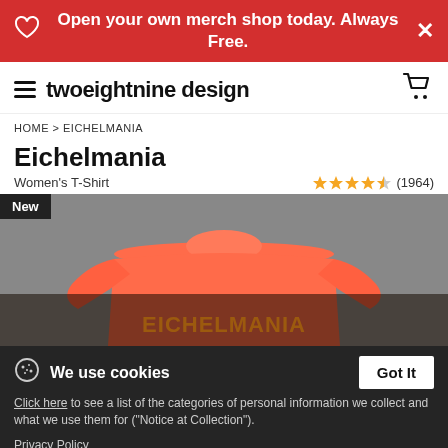Open your own merch shop today. Always Free.
twoeightnine design
HOME > EICHELMANIA
Eichelmania
Women's T-Shirt  ★★★★½ (1964)
[Figure (photo): Orange/coral women's t-shirt product image on grey background with 'New' badge and text overlay showing brand name]
We use cookies
Click here to see a list of the categories of personal information we collect and what we use them for ("Notice at Collection").
Privacy Policy
Do Not Sell My Personal Information
By using this website, I agree to the Terms and Conditions